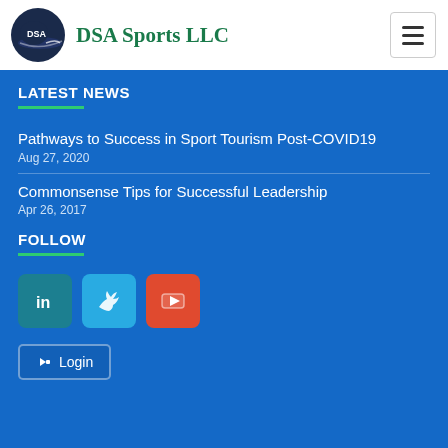DSA Sports LLC
LATEST NEWS
Pathways to Success in Sport Tourism Post-COVID19
Aug 27, 2020
Commonsense Tips for Successful Leadership
Apr 26, 2017
FOLLOW
[Figure (other): Social media icons: LinkedIn, Twitter, YouTube]
Login